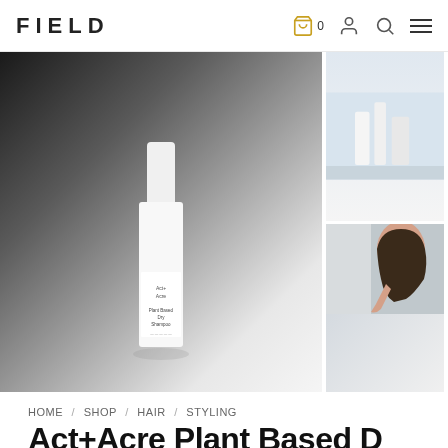FIELD — navigation with cart (0), account, search, and menu icons
[Figure (photo): Product photo of a white cylindrical bottle of Act+Acre Plant Based Dry Shampoo on a gradient grey background]
[Figure (photo): Small thumbnail image showing a bathroom product shelf]
[Figure (photo): Small thumbnail image of a woman washing her hair]
HOME / SHOP / HAIR / STYLING
Act+Acre Plant Based D...